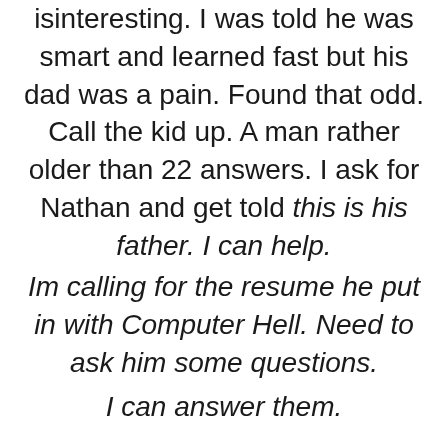isinteresting. I was told he was smart and learned fast but his dad was a pain. Found that odd. Call the kid up. A man rather older than 22 answers. I ask for Nathan and get told this is his father. I can help.
Im calling for the resume he put in with Computer Hell. Need to ask him some questions.
I can answer them.